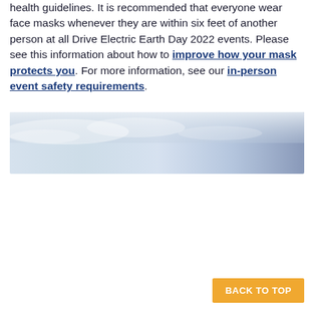health guidelines. It is recommended that everyone wear face masks whenever they are within six feet of another person at all Drive Electric Earth Day 2022 events. Please see this information about how to improve how your mask protects you. For more information, see our in-person event safety requirements.
[Figure (photo): A landscape banner image showing a sky with light clouds and a gradient from pale blue-white on the left to darker steel blue on the right.]
BACK TO TOP